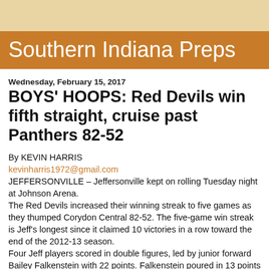Southern Indiana Preps
Wednesday, February 15, 2017
BOYS' HOOPS: Red Devils win fifth straight, cruise past Panthers 82-52
By KEVIN HARRIS
kevinharris1972@gmail.com
JEFFERSONVILLE – Jeffersonville kept on rolling Tuesday night at Johnson Arena.
The Red Devils increased their winning streak to five games as they thumped Corydon Central 82-52. The five-game win streak is Jeff's longest since it claimed 10 victories in a row toward the end of the 2012-13 season.
Four Jeff players scored in double figures, led by junior forward Bailey Falkenstein with 22 points. Falkenstein poured in 13 points in the third quarter, where the Red Devils (13-8) outscored the Panthers 24-11 to go up 65-36.